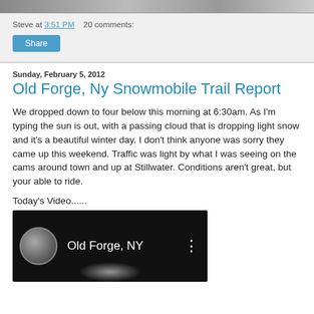[Figure (photo): Top image strip from blog header photo]
Steve at 3:51 PM   20 comments:
Share
Sunday, February 5, 2012
Old Forge, Ny Snowmobile Trail Report
We dropped down to four below this morning at 6:30am. As I'm typing the sun is out, with a passing cloud that is dropping light snow and it's a beautiful winter day. I don't think anyone was sorry they came up this weekend. Traffic was light by what I was seeing on the cams around town and up at Stillwater. Conditions aren't great, but your able to ride.
Today's Video......
[Figure (screenshot): Video thumbnail showing Old Forge, NY YouTube video with circular channel icon and three-dot menu]